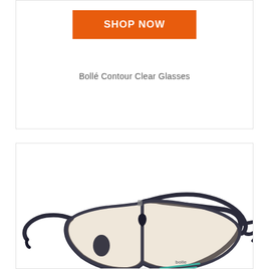[Figure (other): Orange 'SHOP NOW' button on white background]
Bollé Contour Clear Glasses
[Figure (photo): Photo of Bollé Contour safety glasses with dark frame and clear/amber lenses, side view showing temple arms and nose pads]